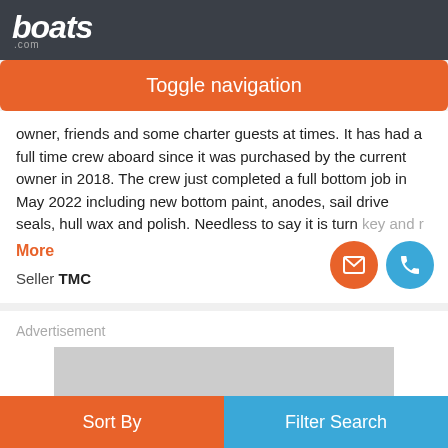boats.com
Toggle navigation
owner, friends and some charter guests at times. It has had a full time crew aboard since it was purchased by the current owner in 2018. The crew just completed a full bottom job in May 2022 including new bottom paint, anodes, sail drive seals, hull wax and polish. Needless to say it is turn key and r
More
Seller TMC
Advertisement
Sort By
Filter Search